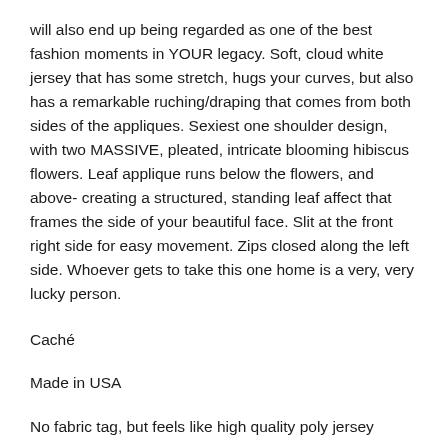will also end up being regarded as one of the best fashion moments in YOUR legacy. Soft, cloud white jersey that has some stretch, hugs your curves, but also has a remarkable ruching/draping that comes from both sides of the appliques. Sexiest one shoulder design, with two MASSIVE, pleated, intricate blooming hibiscus flowers. Leaf applique runs below the flowers, and above- creating a structured, standing leaf affect that frames the side of your beautiful face. Slit at the front right side for easy movement. Zips closed along the left side. Whoever gets to take this one home is a very, very lucky person.
Caché
Made in USA
No fabric tag, but feels like high quality poly jersey